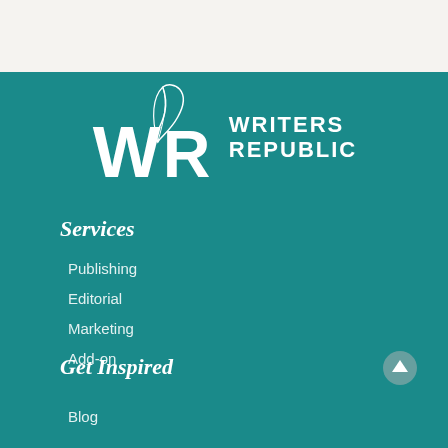[Figure (logo): Writers Republic logo with stylized WR letters and feather quill above, with text WRITERS REPUBLIC on teal background]
Services
Publishing
Editorial
Marketing
Add-on
Get Inspired
Blog